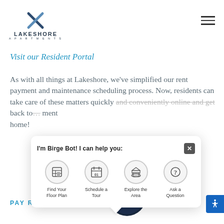[Figure (logo): Lakeshore Apartments logo with stylized X mark above the text LAKESHORE APARTMENTS]
Visit our Resident Portal
As with all things at Lakeshore, we've simplified our rent payment and maintenance scheduling process. Now, residents can take care of these matters quickly and conveniently online and get back to enjoying apartment home!
[Figure (screenshot): Birge Bot chat popup with options: Find Your Floor Plan, Schedule a Tour, Explore the Area, Ask a Question]
PAY RENT ›
[Figure (illustration): Birge Bot robot icon - dark circular avatar with robot face]
[Figure (other): Accessibility icon button in blue at bottom right]